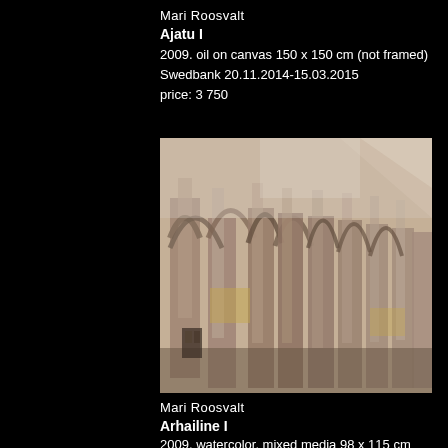Mari Roosvalt
Ajatu I
2009. oil on canvas 150 x 150 cm (not framed)
Swedbank 20.11.2014-15.03.2015
price: 3 750
[Figure (photo): Painting by Mari Roosvalt titled Arhailine I, showing gothic arched stone columns and architecture rendered in watercolor and mixed media, in muted earth tones of brown, grey, and ochre.]
Mari Roosvalt
Arhailine I
2009. watercolor, mixed media 98 x 115 cm (framed)